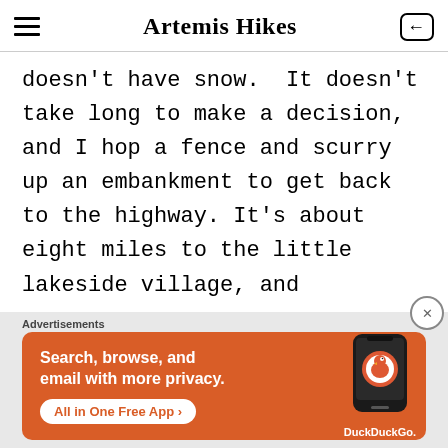Artemis Hikes
doesn't have snow.  It doesn't take long to make a decision, and I hop a fence and scurry up an embankment to get back to the highway. It's about eight miles to the little lakeside village, and
[Figure (screenshot): DuckDuckGo advertisement banner with orange background. Text: 'Search, browse, and email with more privacy. All in One Free App' with DuckDuckGo logo and phone illustration.]